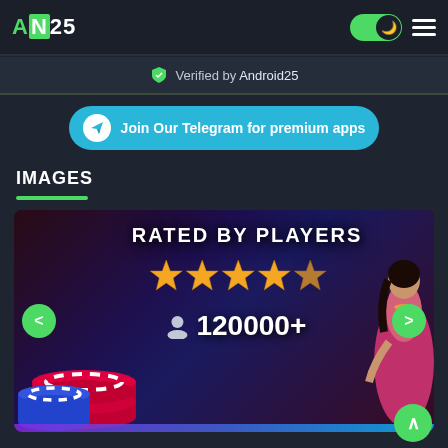AN25
Verified by Android25
Join Our Telegram for premium apps
IMAGES
[Figure (screenshot): Casino app screenshot showing 'RATED BY PLAYERS' with 5 stars rating and '120000+' players count, poker chips on the left, and a woman in pink sari on the right]